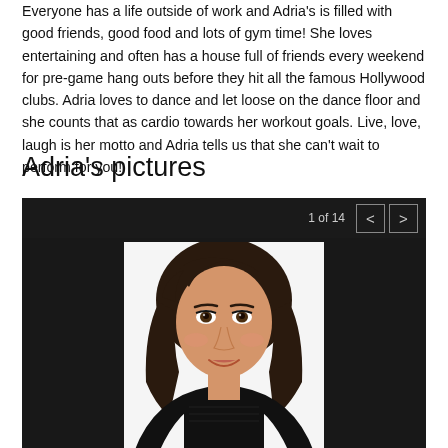Everyone has a life outside of work and Adria's is filled with good friends, good food and lots of gym time! She loves entertaining and often has a house full of friends every weekend for pre-game hang outs before they hit all the famous Hollywood clubs. Adria loves to dance and let loose on the dance floor and she counts that as cardio towards her workout goals. Live, love, laugh is her motto and Adria tells us that she can't wait to perform for you!
Adria’s pictures
[Figure (photo): Photo gallery viewer showing image 1 of 14. Dark background with a portrait photo of a young woman with dark hair, wearing a black lace top, smiling at the camera. Navigation arrows visible in the top right of the gallery.]